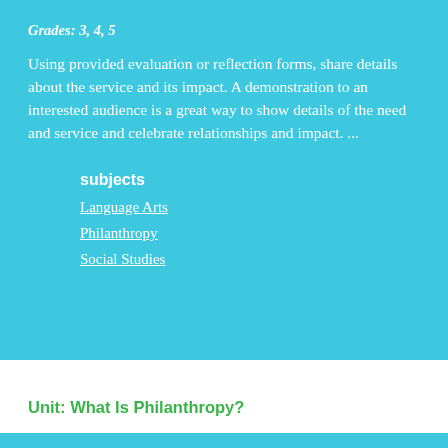Grades: 3, 4, 5
Using provided evaluation or reflection forms, share details about the service and its impact. A demonstration to an interested audience is a great way to show details of the need and service and celebrate relationships and impact. ...
subjects
Language Arts
Philanthropy
Social Studies
Unit: What Is Philanthropy?
Service Learning Project
What Is Philanthropy? Grades: 3, 4, 5